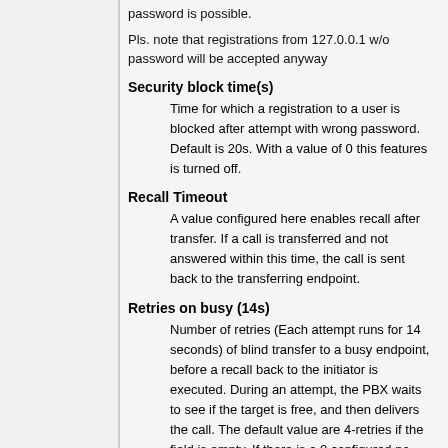password is possible.
Pls. note that registrations from 127.0.0.1 w/o password will be accepted anyway
Security block time(s)
Time for which a registration to a user is blocked after attempt with wrong password. Default is 20s. With a value of 0 this features is turned off.
Recall Timeout
A value configured here enables recall after transfer. If a call is transferred and not answered within this time, the call is sent back to the transferring endpoint.
Retries on busy (14s)
Number of retries (Each attempt runs for 14 seconds) of blind transfer to a busy endpoint, before a recall back to the initiator is executed. During an attempt, the PBX waits to see if the target is free, and then delivers the call. The default value are 4-retries if the field is empty. If there is a 0 configured no further (in addition to the